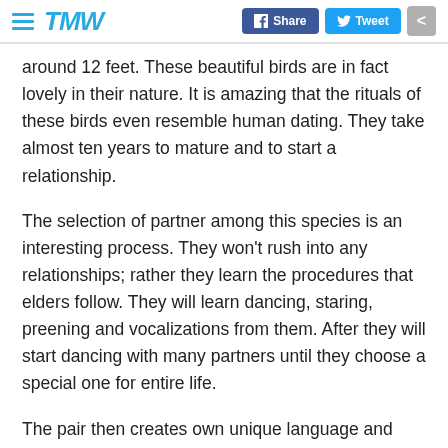TMW | Share | Tweet
around 12 feet. These beautiful birds are in fact lovely in their nature. It is amazing that the rituals of these birds even resemble human dating. They take almost ten years to mature and to start a relationship.
The selection of partner among this species is an interesting process. They won't rush into any relationships; rather they learn the procedures that elders follow. They will learn dancing, staring, preening and vocalizations from them. After they will start dancing with many partners until they choose a special one for entire life.
The pair then creates own unique language and